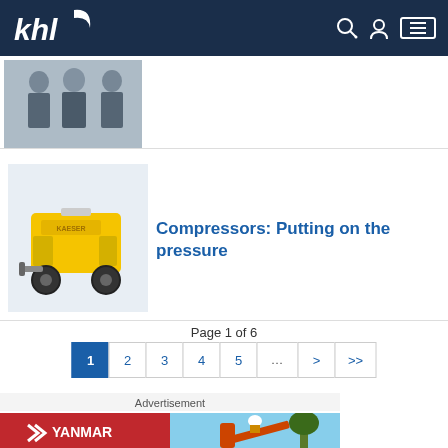khl
[Figure (photo): Three men in business suits standing together at an event]
[Figure (photo): Yellow Kaeser portable compressor on a trailer]
Compressors: Putting on the pressure
Page 1 of 6
1
2
3
4
5
...
>
>>
Advertisement
[Figure (photo): Yanmar advertisement banner with red background on left showing Yanmar logo and construction scene on right]